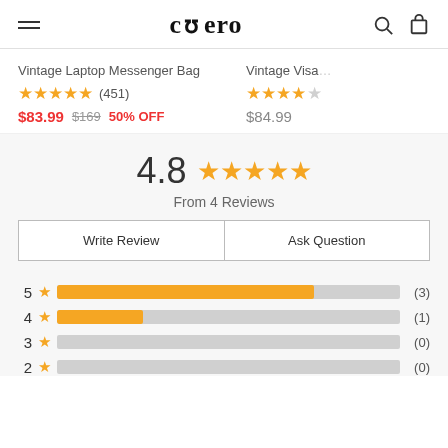Cuero — navigation header with hamburger menu, logo, search and cart icons
Vintage Laptop Messenger Bag
★★★★★ (451)
$83.99  $169  50% OFF
Vintage Visa…
★★★★☆
$84.99
4.8 ★★★★★
From 4 Reviews
Write Review
Ask Question
[Figure (bar-chart): Rating distribution]